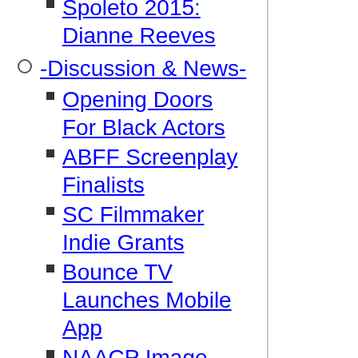Spoleto 2015: Dianne Reeves
-Discussion & News-
Opening Doors For Black Actors
ABFF Screenplay Finalists
SC Filmmaker Indie Grants
Bounce TV Launches Mobile App
NAACP Image Awards Recap
TV One Relaunches
UK Directors Seeking Work
Zamata Named ACLU Ambassador
Acting Workshop Partnership
Plus Size Women Project